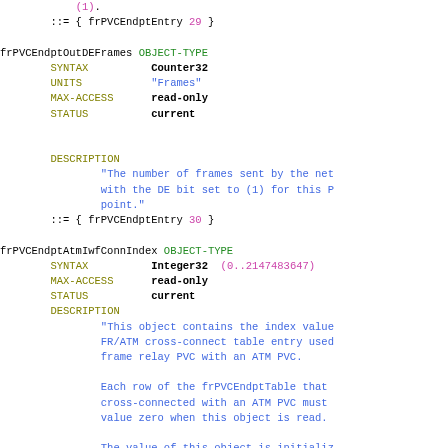::= { frPVCEndptEntry 29 }

frPVCEndptOutDEFrames OBJECT-TYPE
    SYNTAX          Counter32
    UNITS           "Frames"
    MAX-ACCESS      read-only
    STATUS          current


    DESCRIPTION
            "The number of frames sent by the net
            with the DE bit set to (1) for this P
            point."
    ::= { frPVCEndptEntry 30 }

frPVCEndptAtmIwfConnIndex OBJECT-TYPE
    SYNTAX          Integer32 (0..2147483647)
    MAX-ACCESS      read-only
    STATUS          current
    DESCRIPTION
            "This object contains the index value
            FR/ATM cross-connect table entry used
            frame relay PVC with an ATM PVC.

            Each row of the frPVCEndptTable that
            cross-connected with an ATM PVC must
            value zero when this object is read.

            The value of this object is initializ
            agent after the associated entries i